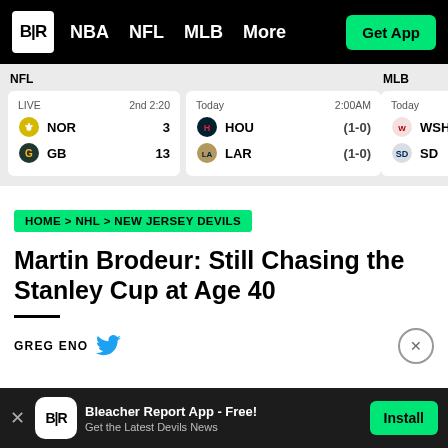B|R  NBA  NFL  MLB  More  Get App
| League | Status | Team1 | Score1 | Team2 | Score2 |
| --- | --- | --- | --- | --- | --- |
| NFL LIVE | 2nd 2:20 | NOR | 3 | GB | 13 |
| NFL Today | 2:00AM | HOU | (1-0) | LAR | (1-0) |
| MLB Today |  | WSH |  | SD |  |
HOME > NHL > NEW JERSEY DEVILS
Martin Brodeur: Still Chasing the Stanley Cup at Age 40
GREG ENO
Bleacher Report App - Free! Get the Latest Devils News  Install